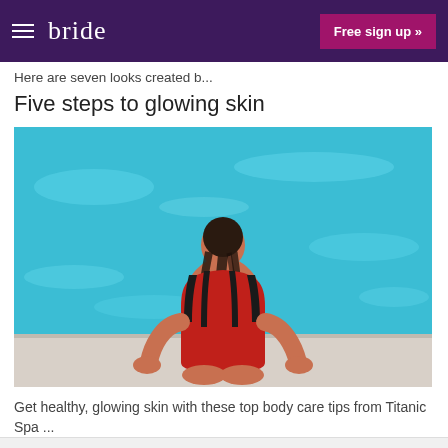bride  |  Free sign up »
Here are seven looks created b...
Five steps to glowing skin
[Figure (photo): Woman in red and black striped swimsuit seen from behind, sitting at the edge of a swimming pool with blue water]
Get healthy, glowing skin with these top body care tips from Titanic Spa ...